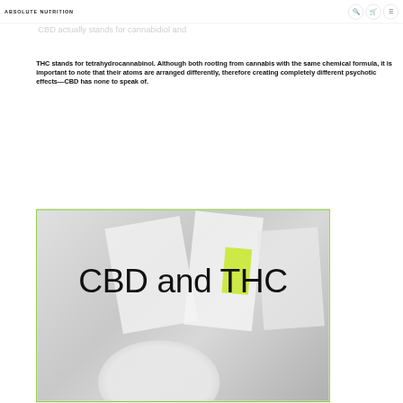Absolute Nutrition
letters commonly associated with marijuana, but unrightfully so. CBD actually stands for cannabidiol and
THC stands for tetrahydrocannabinol. Although both rooting from cannabis with the same chemical formula, it is important to note that their atoms are arranged differently, therefore creating completely different psychotic effects—CBD has none to speak of.
[Figure (photo): Photo of CBD and THC product boxes/packets arranged on a light surface with a white bowl/cup, with a yellow-green label sticker visible. Large text overlay reads 'CBD and THC'. Image has a green border.]